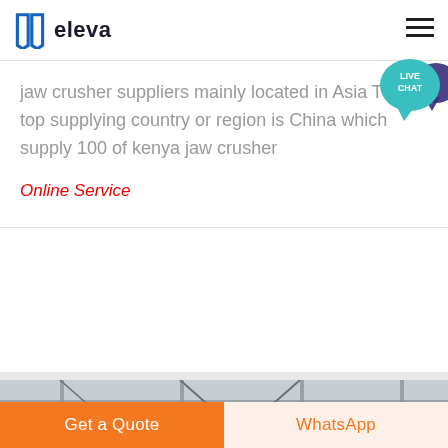eleva
jaw crusher suppliers mainly located in Asia The top supplying country or region is China which supply 100 of kenya jaw crusher
Online Service
[Figure (photo): Interior of an industrial factory or warehouse with metal scaffolding, lights, and machinery visible.]
Get a Quote
WhatsApp